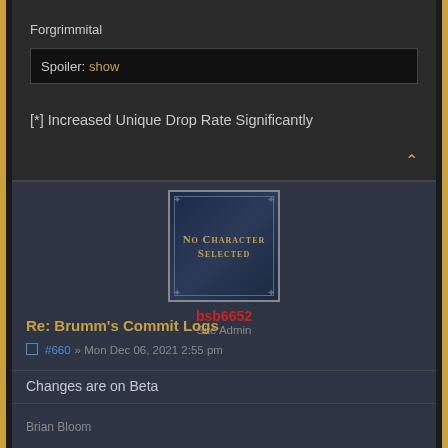Forgrimmital
Spoiler: show
[*] Increased Unique Drop Rate Significantly
[Figure (illustration): No Character Selected avatar placeholder image with decorative border and gold text]
bsb6652
Site Admin
Re: Brumm's Commit Logs
#660 » Mon Dec 06, 2021 2:55 pm
Changes are on Beta
Brian Bloom